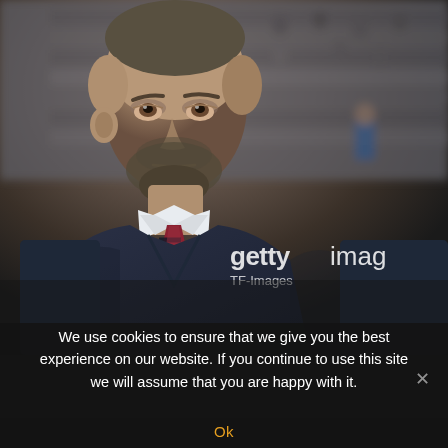[Figure (photo): A man in a dark navy v-neck sweater with a red and dark striped tie and white shirt collar, looking upward with a serious/contemplative expression. Stadium stands with spectators visible in the blurred background. Getty Images watermark with 'TF-Images' credit visible in lower right of photo.]
We use cookies to ensure that we give you the best experience on our website. If you continue to use this site we will assume that you are happy with it.
Ok